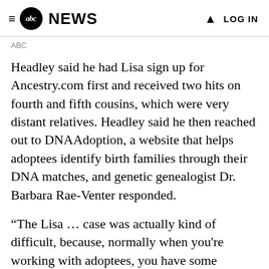abc NEWS  LOG IN
ABC
Headley said he had Lisa sign up for Ancestry.com first and received two hits on fourth and fifth cousins, which were very distant relatives. Headley said he then reached out to DNAAdoption, a website that helps adoptees identify birth families through their DNA matches, and genetic genealogist Dr. Barbara Rae-Venter responded.
“The Lisa … case was actually kind of difficult, because, normally when you’re working with adoptees, you have some information,” Rae-Venter said. “You know where they’re born